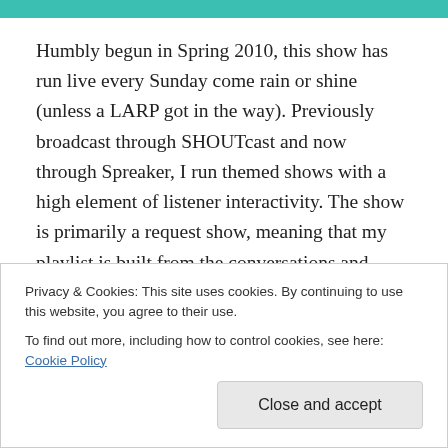[Figure (photo): Partial top strip of a photo showing a person in teal/turquoise clothing]
Humbly begun in Spring 2010, this show has run live every Sunday come rain or shine (unless a LARP got in the way). Previously broadcast through SHOUTcast and now through Spreaker, I run themed shows with a high element of listener interactivity. The show is primarily a request show, meaning that my playlist is built from the conversations and murmurings of those listening. Shows that do not have a theme at the outset will begin with no set playlist and grow over the course of two hours
Privacy & Cookies: This site uses cookies. By continuing to use this website, you agree to their use.
To find out more, including how to control cookies, see here: Cookie Policy